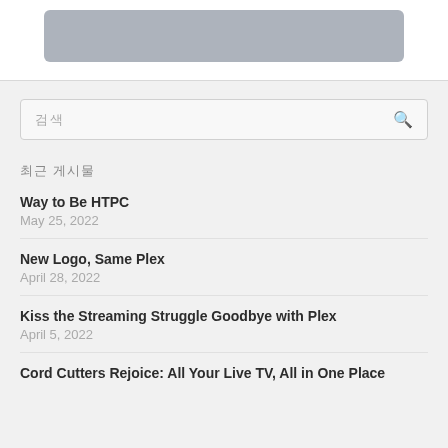[Figure (other): Gray rounded rectangle banner placeholder at top of page]
[Figure (other): Search box with Korean placeholder text and magnifying glass icon]
최근 게시물
Way to Be HTPC
May 25, 2022
New Logo, Same Plex
April 28, 2022
Kiss the Streaming Struggle Goodbye with Plex
April 5, 2022
Cord Cutters Rejoice: All Your Live TV, All in One Place